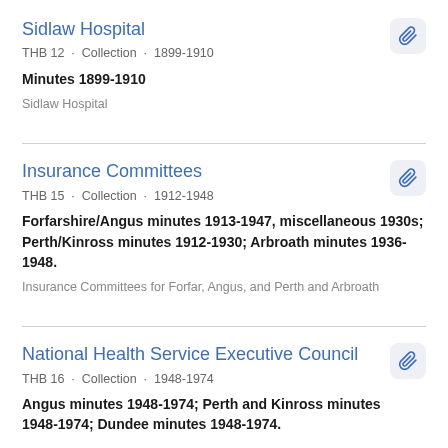Sidlaw Hospital
THB 12 · Collection · 1899-1910
Minutes 1899-1910
Sidlaw Hospital
Insurance Committees
THB 15 · Collection · 1912-1948
Forfarshire/Angus minutes 1913-1947, miscellaneous 1930s; Perth/Kinross minutes 1912-1930; Arbroath minutes 1936-1948.
Insurance Committees for Forfar, Angus, and Perth and Arbroath
National Health Service Executive Council
THB 16 · Collection · 1948-1974
Angus minutes 1948-1974; Perth and Kinross minutes 1948-1974; Dundee minutes 1948-1974.